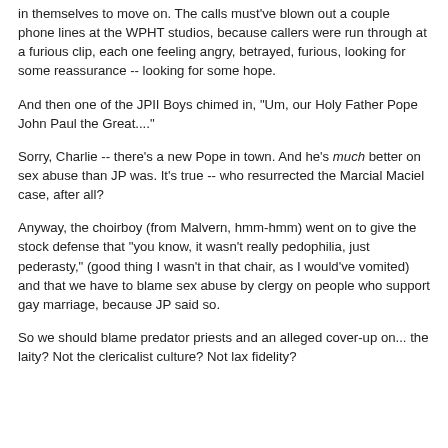in themselves to move on. The calls must've blown out a couple phone lines at the WPHT studios, because callers were run through at a furious clip, each one feeling angry, betrayed, furious, looking for some reassurance -- looking for some hope.
And then one of the JPII Boys chimed in, "Um, our Holy Father Pope John Paul the Great...."
Sorry, Charlie -- there's a new Pope in town. And he's much better on sex abuse than JP was. It's true -- who resurrected the Marcial Maciel case, after all?
Anyway, the choirboy (from Malvern, hmm-hmm) went on to give the stock defense that "you know, it wasn't really pedophilia, just pederasty," (good thing I wasn't in that chair, as I would've vomited) and that we have to blame sex abuse by clergy on people who support gay marriage, because JP said so.
So we should blame predator priests and an alleged cover-up on... the laity? Not the clericalist culture? Not lax fidelity?